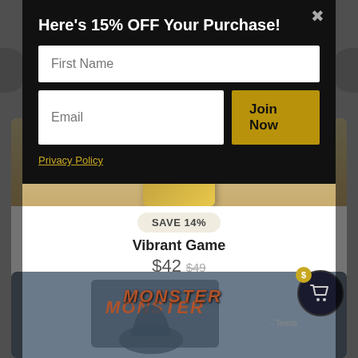[Figure (screenshot): Website e-commerce page with a modal popup offering 15% off, overlaying a product listing page showing a board game called 'Vibrant Game' priced at $42 (original $49, save 14%), with an Add to Cart button, and a partially visible second product with 'MONSTER' text at the bottom.]
Here's 15% OFF Your Purchase!
First Name
Email
Join Now
Privacy Policy
SAVE 14%
Vibrant Game
$42 $49
Add to Cart
MONSTER